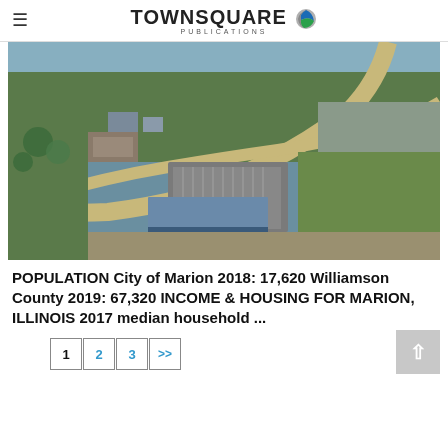TOWNSQUARE PUBLICATIONS
[Figure (photo): Aerial fisheye photograph of Marion, Illinois showing commercial district with roads, parking lots, and green fields surrounding a commercial/retail area.]
POPULATION City of Marion 2018: 17,620 Williamson County 2019: 67,320 INCOME & HOUSING FOR MARION, ILLINOIS 2017 median household ...
1
2
3
>>